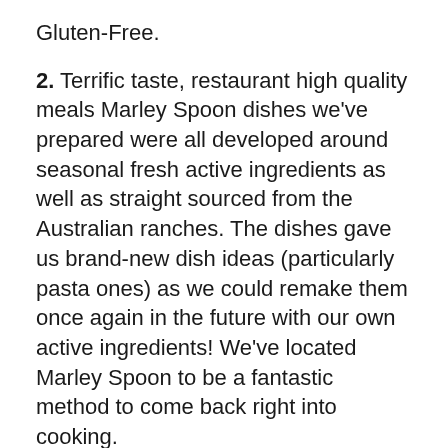Gluten-Free.
2. Terrific taste, restaurant high quality meals Marley Spoon dishes we've prepared were all developed around seasonal fresh active ingredients as well as straight sourced from the Australian ranches. The dishes gave us brand-new dish ideas (particularly pasta ones) as we could remake them once again in the future with our own active ingredients! We've located Marley Spoon to be a fantastic method to come back right into cooking.
3. Perfect service for the time bad
Dish box services are developed for those that love cooking yet have no time at all to do grocery buying or plan for dishes. Unlike